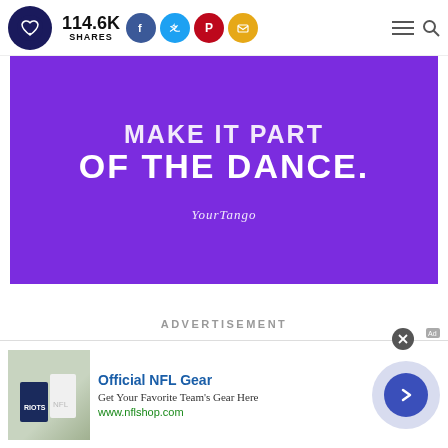114.6K SHARES — social sharing header with logo and nav icons
[Figure (illustration): Purple banner with large white bold text reading 'MAKE IT PART OF THE DANCE.' and YourTango script logo at bottom]
ADVERTISEMENT
[Figure (infographic): NFL Shop advertisement banner: Official NFL Gear — Get Your Favorite Team's Gear Here — www.nflshop.com — with NFL jersey image on left and arrow button on right]